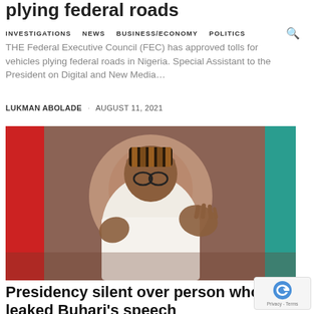plying federal roads
INVESTIGATIONS  NEWS  BUSINESS/ECONOMY  POLITICS
THE Federal Executive Council (FEC) has approved tolls for vehicles plying federal roads in Nigeria. Special Assistant to the President on Digital and New Media…
LUKMAN ABOLADE · AUGUST 11, 2021
[Figure (photo): President Muhammadu Buhari in a white garment and traditional cap, gesturing with both hands raised, seated in front of the Nigerian coat of arms plaque. Nigerian flags visible in background.]
Presidency silent over person who leaked Buhari's speech